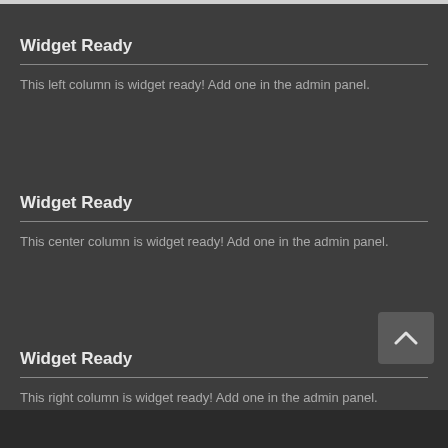Widget Ready
This left column is widget ready! Add one in the admin panel.
Widget Ready
This center column is widget ready! Add one in the admin panel.
Widget Ready
This right column is widget ready! Add one in the admin panel.